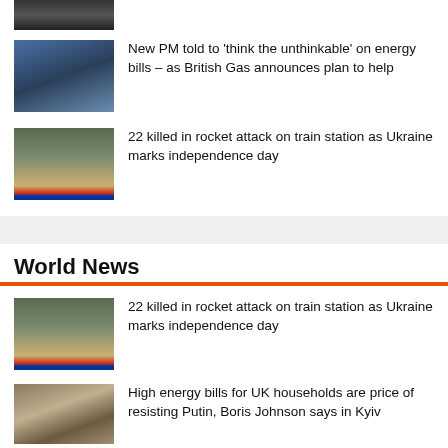[Figure (photo): Partial photo strip at top, cropped figures]
[Figure (photo): Person wrapped in blue blanket/shawl]
New PM told to 'think the unthinkable' on energy bills – as British Gas announces plan to help
[Figure (photo): Military vehicle/rocket launcher with flags]
22 killed in rocket attack on train station as Ukraine marks independence day
World News
[Figure (photo): Military vehicle/rocket launcher with flags]
22 killed in rocket attack on train station as Ukraine marks independence day
[Figure (photo): Two officials meeting, Boris Johnson in Kyiv]
High energy bills for UK households are price of resisting Putin, Boris Johnson says in Kyiv